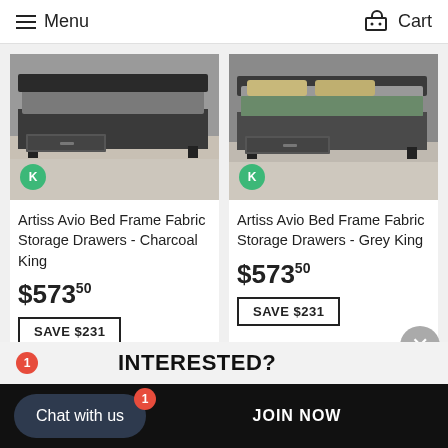Menu    Cart
[Figure (photo): Artiss Avio Bed Frame with fabric storage drawers in Charcoal, King size, showing drawers pulled open]
Artiss Avio Bed Frame Fabric Storage Drawers - Charcoal King
$573.50
SAVE $231
[Figure (photo): Artiss Avio Bed Frame with fabric storage drawers in Grey, King size, showing drawers pulled open]
Artiss Avio Bed Frame Fabric Storage Drawers - Grey King
$573.50
SAVE $231
INTERESTED?
Chat with us
JOIN NOW